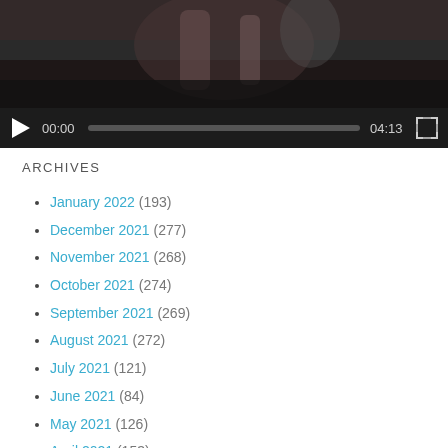[Figure (screenshot): Video player with dark thumbnail showing hands/glass, controls bar with play button showing 00:00 / 04:13 and fullscreen icon]
ARCHIVES
January 2022 (193)
December 2021 (277)
November 2021 (268)
October 2021 (274)
September 2021 (269)
August 2021 (272)
July 2021 (121)
June 2021 (84)
May 2021 (126)
April 2021 (153)
March 2021 (146)
February 2021 (144)
January 2021 (164)